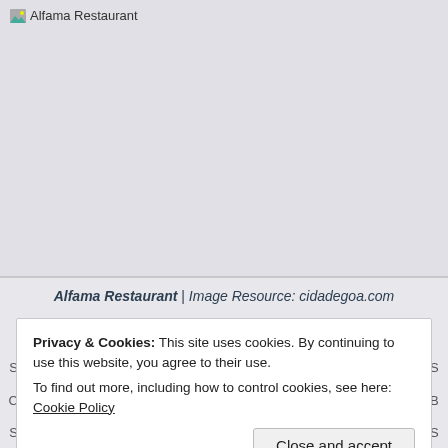[Figure (photo): Broken image placeholder for Alfama Restaurant photo, showing grey rectangle with broken image icon and alt text 'Alfama Restaurant']
Alfama Restaurant | Image Resource: cidadegoa.com
Privacy & Cookies: This site uses cookies. By continuing to use this website, you agree to their use.
To find out more, including how to control cookies, see here: Cookie Policy
Close and accept